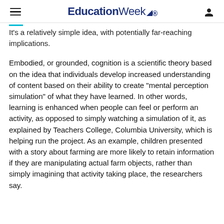EducationWeek
It's a relatively simple idea, with potentially far-reaching implications.
Embodied, or grounded, cognition is a scientific theory based on the idea that individuals develop increased understanding of content based on their ability to create “mental perception simulation” of what they have learned. In other words, learning is enhanced when people can feel or perform an activity, as opposed to simply watching a simulation of it, as explained by Teachers College, Columbia University, which is helping run the project. As an example, children presented with a story about farming are more likely to retain information if they are manipulating actual farm objects, rather than simply imagining that activity taking place, the researchers say.